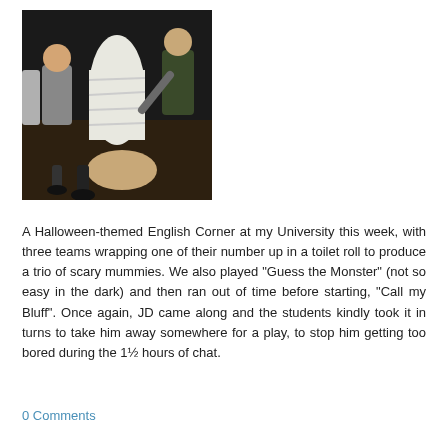[Figure (photo): Group of people wrapping someone in toilet roll to make a mummy, photographed from above in a dark room at a Halloween-themed English Corner event at a university.]
A Halloween-themed English Corner at my University this week, with three teams wrapping one of their number up in a toilet roll to produce a trio of scary mummies. We also played "Guess the Monster" (not so easy in the dark) and then ran out of time before starting, "Call my Bluff". Once again, JD came along and the students kindly took it in turns to take him away somewhere for a play, to stop him getting too bored during the 1½ hours of chat.
0 Comments